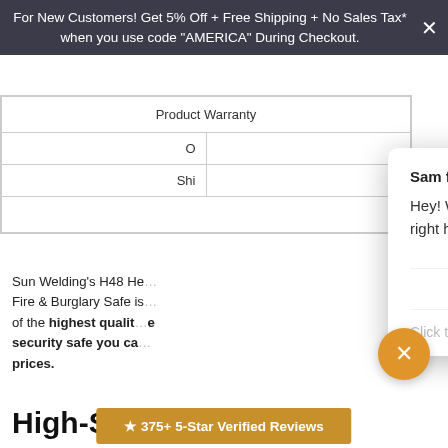For New Customers! Get 5% Off + Free Shipping + No Sales Tax* when you use code "AMERICA" During Checkout.
| Product Warranty |
| --- |
| O... |
| Shi... |
|  |
Sun Welding's H48 He... Fire & Burglary Safe is... of the highest quality... security safe you ca... prices.
[Figure (screenshot): Chat widget popup from Sam at Top American Garage with welcome message and 'Powered by gorgias' branding]
High-Se...
★ 375+ 5-Star Verified Reviews